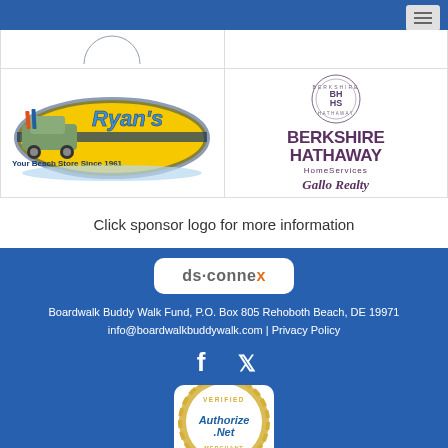[Figure (logo): Navigation bar with hamburger menu icon]
[Figure (logo): Ryan's Beach Store logo - yellow surfboard shape with vintage car, text 'Your Beach Store Since 1961']
[Figure (logo): Berkshire Hathaway HomeServices Gallo Realty logo with BH HS circle emblem]
Click sponsor logo for more information
[Figure (logo): ds-connex logo in white rounded box]
Boardwalk Buddy Walk Fund, P.O. Box 805 Rehoboth Beach, DE 19971
info@boardwalkbuddywalk.com | Privacy Policy
[Figure (logo): Facebook and Twitter social media icons]
[Figure (logo): Authorize.Net Verified Merchant seal]